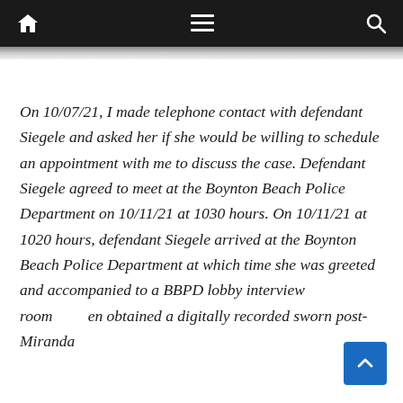Navigation bar with home, menu, and search icons
On 10/07/21, I made telephone contact with defendant Siegele and asked her if she would be willing to schedule an appointment with me to discuss the case. Defendant Siegele agreed to meet at the Boynton Beach Police Department on 10/11/21 at 1030 hours. On 10/11/21 at 1020 hours, defendant Siegele arrived at the Boynton Beach Police Department at which time she was greeted and accompanied to a BBPD lobby interview room and obtained a digitally recorded sworn post-Miranda